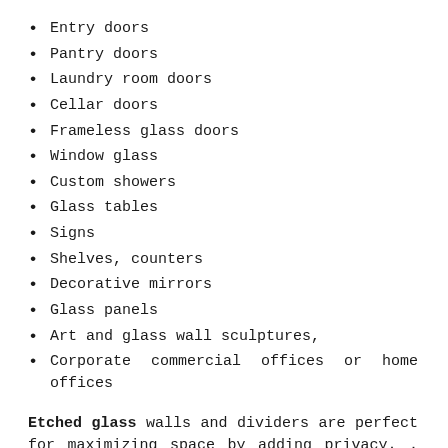Entry doors
Pantry doors
Laundry room doors
Cellar doors
Frameless glass doors
Window glass
Custom showers
Glass tables
Signs
Shelves, counters
Decorative mirrors
Glass panels
Art and glass wall sculptures,
Corporate commercial offices or home offices
Etched glass walls and dividers are perfect for maximizing space by adding privacy. . With etched glass walls you can create room dividers for bedrooms, offices, fitness rooms, conference rooms, or any room you want to change from a private area to an open space in an instant.
Etched glass walls allow natural light to